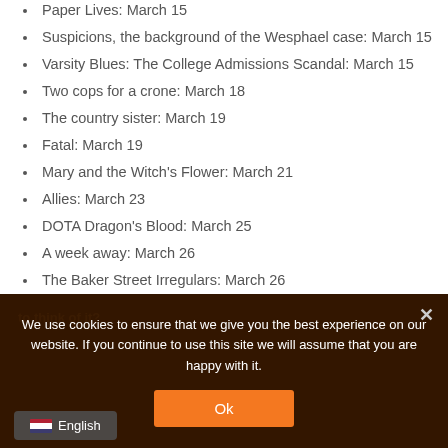Paper Lives: March 15
Suspicions, the background of the Wesphael case: March 15
Varsity Blues: The College Admissions Scandal: March 15
Two cops for a crone: March 18
The country sister: March 19
Fatal: March 19
Mary and the Witch's Flower: March 21
Allies: March 23
DOTA Dragon's Blood: March 25
A week away: March 26
The Baker Street Irregulars: March 26
We use cookies to ensure that we give you the best experience on our website. If you continue to use this site we will assume that you are happy with it.
Ok
English